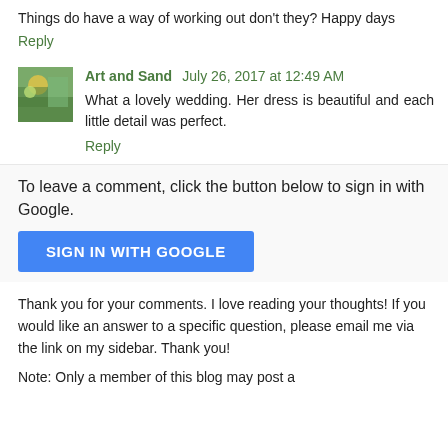Things do have a way of working out don't they? Happy days
Reply
Art and Sand July 26, 2017 at 12:49 AM
What a lovely wedding. Her dress is beautiful and each little detail was perfect.
Reply
To leave a comment, click the button below to sign in with Google.
[Figure (other): SIGN IN WITH GOOGLE button - a blue rounded rectangular button with white uppercase text]
Thank you for your comments. I love reading your thoughts! If you would like an answer to a specific question, please email me via the link on my sidebar. Thank you!
Note: Only a member of this blog may post a comment.